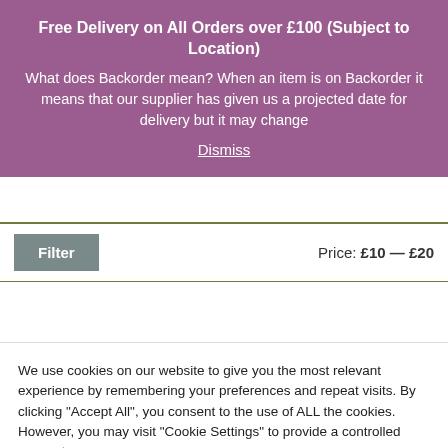Free Delivery on All Orders over £100 (Subject to Location)
What does Backorder mean? When an item is on Backorder it means that our supplier has given us a projected date for delivery but it may change
Dismiss
Filter
Price: £10 — £20
We use cookies on our website to give you the most relevant experience by remembering your preferences and repeat visits. By clicking "Accept All", you consent to the use of ALL the cookies. However, you may visit "Cookie Settings" to provide a controlled consent.
Cookie Settings
Accept All